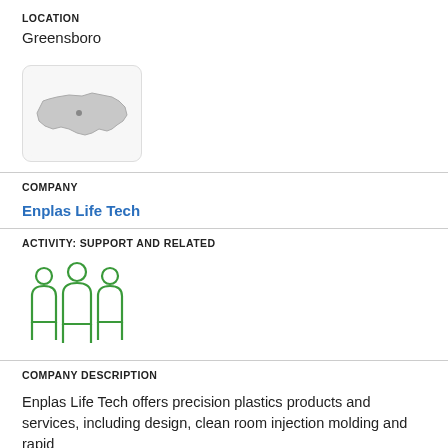LOCATION
Greensboro
[Figure (map): Small map thumbnail showing the outline of North Carolina state with a location indicator near Greensboro]
COMPANY
Enplas Life Tech
ACTIVITY: SUPPORT AND RELATED
[Figure (illustration): Green icon showing three people/figures representing a team or group]
COMPANY DESCRIPTION
Enplas Life Tech offers precision plastics products and services, including design, clean room injection molding and rapid prototyping for the life sciences. Products and company acquisition